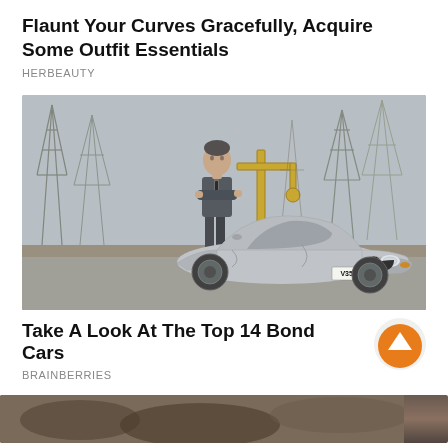Flaunt Your Curves Gracefully, Acquire Some Outfit Essentials
HERBEAUTY
[Figure (photo): Man in grey suit leaning against a silver BMW Z8 convertible sports car with license plate V354 FMP, oil derricks visible in background]
Take A Look At The Top 14 Bond Cars
BRAINBERRIES
[Figure (photo): Partial view of bottom image, appears to show animals or fur texture]